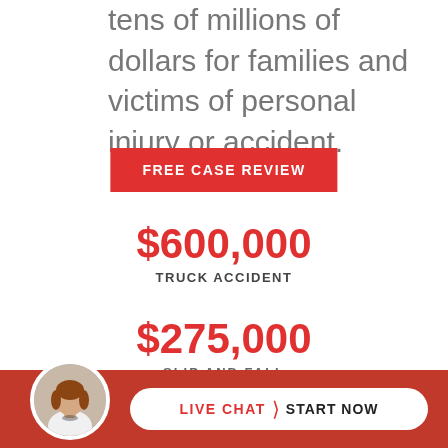tens of millions of dollars for families and victims of personal injury or accident.
FREE CASE REVIEW
$600,000
TRUCK ACCIDENT
$275,000
SLIP AND FALL
[Figure (photo): Circular avatar photo of a woman with shoulder-length hair wearing a white jacket]
LIVE CHAT  START NOW